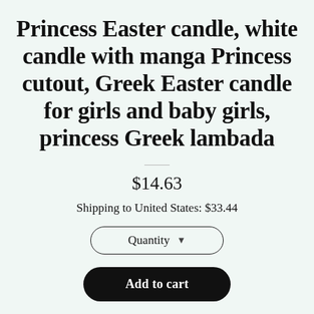Princess Easter candle, white candle with manga Princess cutout, Greek Easter candle for girls and baby girls, princess Greek lambada
$14.63
Shipping to United States: $33.44
Quantity
Add to cart